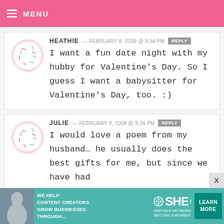MENU
HEATHIE — FEBRUARY 8, 2009 @ 9:34 PM REPLY
I want a fun date night with my hubby for Valentine's Day. So I guess I want a babysitter for Valentine's Day, too. :)
JULIE — FEBRUARY 8, 2009 @ 9:34 PM REPLY
I would love a poem from my husband... he usually does the best gifts for me, but since we have had
[Figure (infographic): SHE Partner Network advertisement banner with text: WE HELP CONTENT CREATORS GROW BUSINESSES THROUGH... LEARN MORE BECOME A MEMBER]